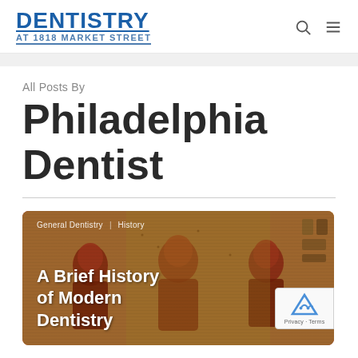[Figure (logo): Dentistry at 1818 Market Street logo with bold blue DENTISTRY text and underlined address subtitle]
All Posts By
Philadelphia Dentist
[Figure (photo): Article card with Egyptian art background image showing ancient figures, overlaid with category tags 'General Dentistry' and 'History' and title 'A Brief History of Modern Dentistry' in white text]